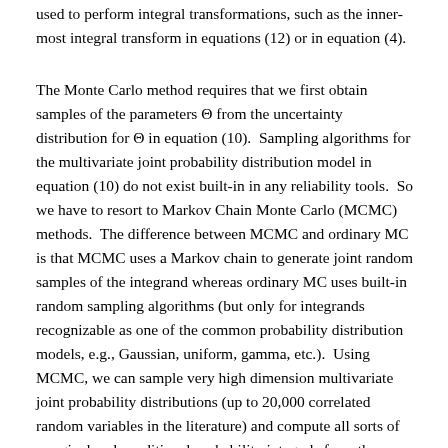used to perform integral transformations, such as the inner-most integral transform in equations (12) or in equation (4).
The Monte Carlo method requires that we first obtain samples of the parameters Θ from the uncertainty distribution for Θ in equation (10). Sampling algorithms for the multivariate joint probability distribution model in equation (10) do not exist built-in in any reliability tools. So we have to resort to Markov Chain Monte Carlo (MCMC) methods. The difference between MCMC and ordinary MC is that MCMC uses a Markov chain to generate joint random samples of the integrand whereas ordinary MC uses built-in random sampling algorithms (but only for integrands recognizable as one of the common probability distribution models, e.g., Gaussian, uniform, gamma, etc.). Using MCMC, we can sample very high dimension multivariate joint probability distributions (up to 20,000 correlated random variables in the literature) and compute all sorts of marginal and conditional probability integrals from the samples of the joint